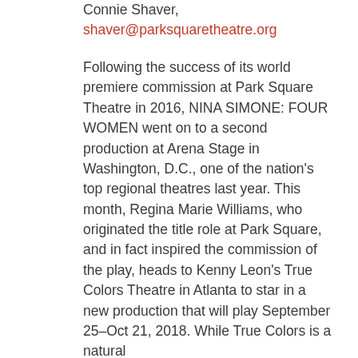Connie Shaver, shaver@parksquaretheatre.org
Following the success of its world premiere commission at Park Square Theatre in 2016, NINA SIMONE: FOUR WOMEN went on to a second production at Arena Stage in Washington, D.C., one of the nation's top regional theatres last year. This month, Regina Marie Williams, who originated the title role at Park Square, and in fact inspired the commission of the play, heads to Kenny Leon's True Colors Theatre in Atlanta to star in a new production that will play September 25–Oct 21, 2018. While True Colors is a natural